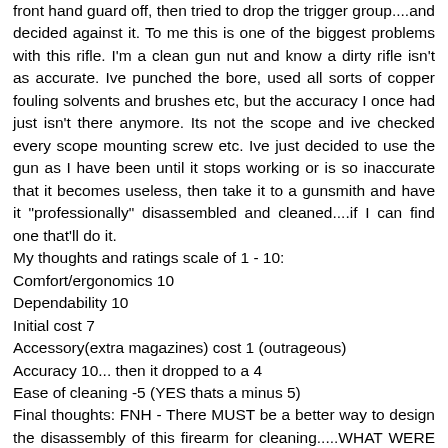front hand guard off, then tried to drop the trigger group....and decided against it. To me this is one of the biggest problems with this rifle. I'm a clean gun nut and know a dirty rifle isn't as accurate. Ive punched the bore, used all sorts of copper fouling solvents and brushes etc, but the accuracy I once had just isn't there anymore. Its not the scope and ive checked every scope mounting screw etc. Ive just decided to use the gun as I have been until it stops working or is so inaccurate that it becomes useless, then take it to a gunsmith and have it "professionally" disassembled and cleaned....if I can find one that'll do it.
My thoughts and ratings scale of 1 - 10:
Comfort/ergonomics 10
Dependability 10
Initial cost 7
Accessory(extra magazines) cost 1 (outrageous)
Accuracy 10... then it dropped to a 4
Ease of cleaning -5 (YES thats a minus 5)
Final thoughts: FNH - There MUST be a better way to design the disassembly of this firearm for cleaning.....WHAT WERE YOU THINKING!!! If it weren't for that, id give this rifle a solid 8 as a strictly hunting rifle. As a military/paramilitary firearm id only rate it as a 3 simply